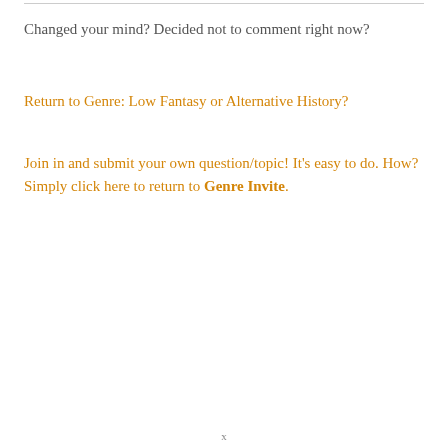Changed your mind? Decided not to comment right now?
Return to Genre: Low Fantasy or Alternative History?
Join in and submit your own question/topic! It's easy to do. How? Simply click here to return to Genre Invite.
x